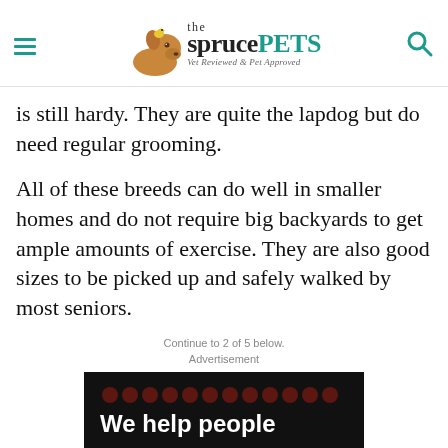the spruce PETS — Vet Reviewed & Pet Approved
is still hardy. They are quite the lapdog but do need regular grooming.
All of these breeds can do well in smaller homes and do not require big backyards to get ample amounts of exercise. They are also good sizes to be picked up and safely walked by most seniors.
Continue to 2 of 5 below.
Advertisement
[Figure (other): Advertisement banner with dark background showing 'We help people' headline and Dotdash Meredith branding with dog illustration in page header]